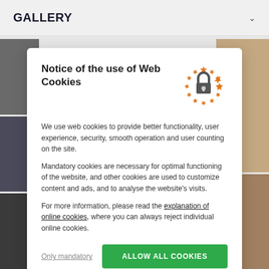GALLERY
[Figure (screenshot): Background photo collage: left side shows dark interior photos, right side shows kitchen with wood and white cabinets]
Notice of the use of Web Cookies
[Figure (illustration): Cookie/privacy icon: a padlock in the center surrounded by a circle of orange stars (EU style)]
We use web cookies to provide better functionality, user experience, security, smooth operation and user counting on the site.
Mandatory cookies are necessary for optimal functioning of the website, and other cookies are used to customize content and ads, and to analyse the website's visits.
For more information, please read the explanation of online cookies, where you can always reject individual online cookies.
Only mandatory
ALLOW ALL COOKIES